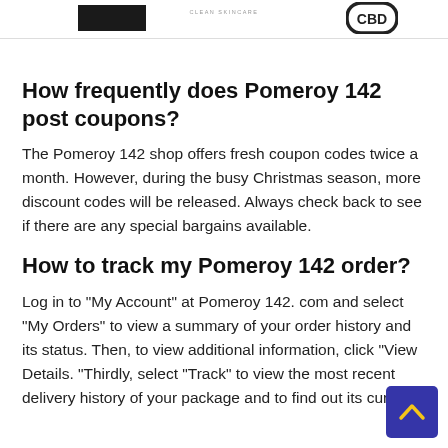[Logo bar with brand logos]
How frequently does Pomeroy 142 post coupons?
The Pomeroy 142 shop offers fresh coupon codes twice a month. However, during the busy Christmas season, more discount codes will be released. Always check back to see if there are any special bargains available.
How to track my Pomeroy 142 order?
Log in to "My Account" at Pomeroy 142. com and select "My Orders" to view a summary of your order history and its status. Then, to view additional information, click "View Details. "Thirdly, select "Track" to view the most recent delivery history of your package and to find out its current